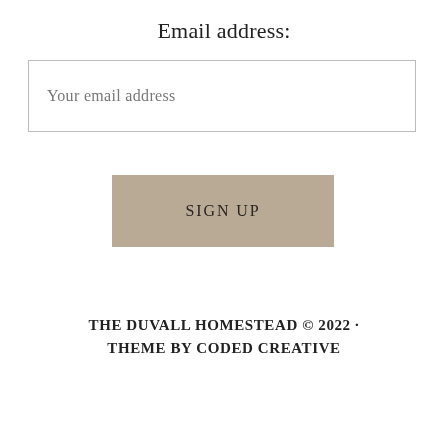Email address:
Your email address
SIGN UP
THE DUVALL HOMESTEAD © 2022 · THEME BY CODED CREATIVE